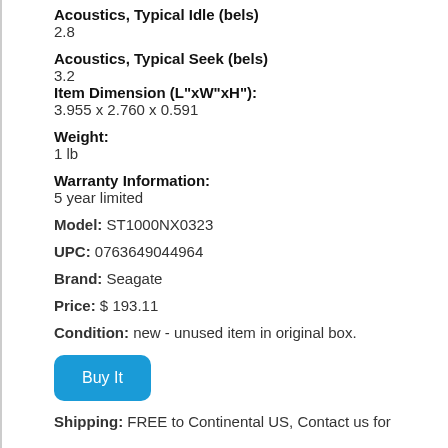Acoustics, Typical Idle (bels)
2.8
Acoustics, Typical Seek (bels)
3.2
Item Dimension (L"xW"xH"):
3.955 x 2.760 x 0.591
Weight:
1 lb
Warranty Information:
5 year limited
Model: ST1000NX0323
UPC: 0763649044964
Brand: Seagate
Price: $ 193.11
Condition: new - unused item in original box.
Buy It
Shipping: FREE to Continental US, Contact us for